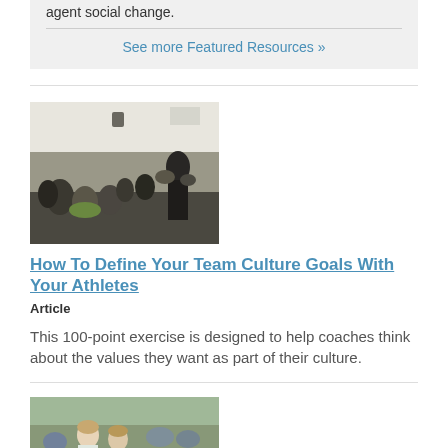agent social change.
See more Featured Resources »
[Figure (photo): Group of athletes sitting in a room listening to a coach or speaker standing in front of them]
How To Define Your Team Culture Goals With Your Athletes
Article
This 100-point exercise is designed to help coaches think about the values they want as part of their culture.
[Figure (photo): Partial view of people outdoors, appears to be athletes or coaches at a sports field]